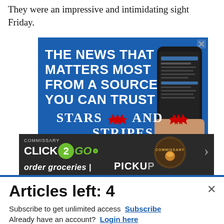They were an impressive and intimidating sight Friday.
[Figure (screenshot): Stars and Stripes advertisement: 'The news that matters most from a source you can trust' with a phone image showing news content]
[Figure (screenshot): Commissary Click2Go advertisement showing logo, commissary badge, and partial text 'order groceries | PICKUP']
Articles left: 4
Subscribe to get unlimited access  Subscribe
Already have an account?  Login here